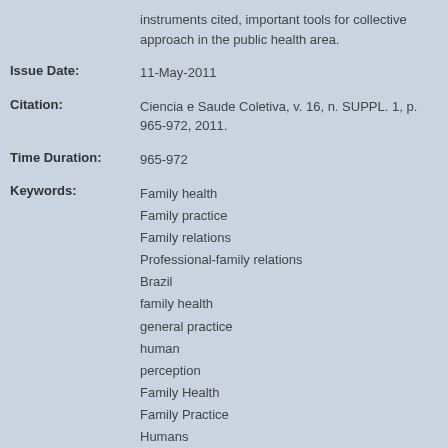instruments cited, important tools for collective approach in the public health area.
Issue Date:	11-May-2011
Citation:	Ciencia e Saude Coletiva, v. 16, n. SUPPL. 1, p. 965-972, 2011.
Time Duration:	965-972
Keywords:	Family health
Family practice
Family relations
Professional-family relations
Brazil
family health
general practice
human
perception
Family Health
Family Practice
Humans
Social Perception